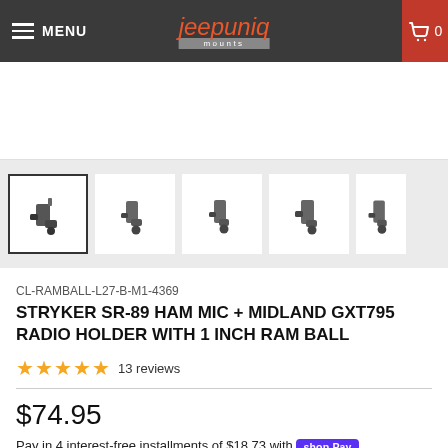MENU | jeepuniq mounts | 0
[Figure (photo): Main product image area (white box, partially cut off)]
[Figure (photo): Row of 5 product thumbnail images showing radio holder mount from different angles]
CL-RAMBALL-L27-B-M1-4369
STRYKER SR-89 HAM MIC + MIDLAND GXT795 RADIO HOLDER WITH 1 INCH RAM BALL
★★★★★ 13 reviews
$74.95
Pay in 4 interest-free installments of $18.73 with Shop Pay
Learn more